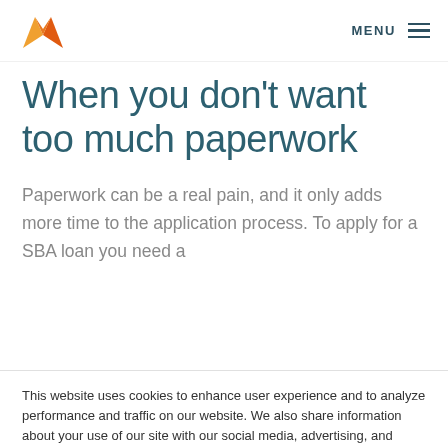MENU
When you don't want too much paperwork
Paperwork can be a real pain, and it only adds more time to the application process. To apply for a SBA loan you need a
This website uses cookies to enhance user experience and to analyze performance and traffic on our website. We also share information about your use of our site with our social media, advertising, and analytics partners. Privacy Policy.
Accept